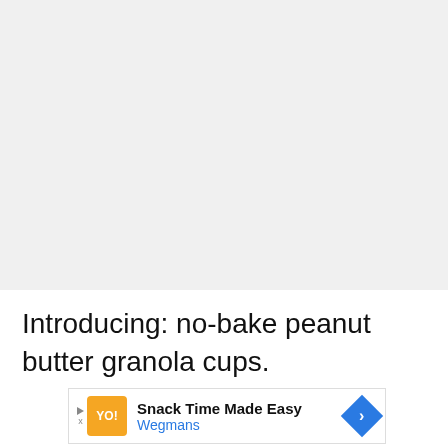ADVERTISEMENT
[Figure (other): Large grey advertisement placeholder area]
Introducing: no-bake peanut butter granola cups.
[Figure (other): Wegmans advertisement banner: Snack Time Made Easy, Wegmans]